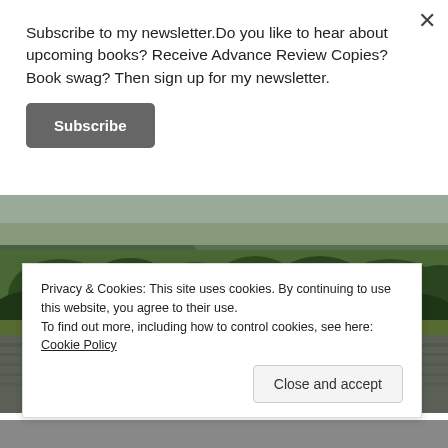Subscribe to my newsletter.Do you like to hear about upcoming books? Receive Advance Review Copies? Book swag? Then sign up for my newsletter.
Subscribe
[Figure (photo): Landscape photograph of a lake or reservoir surrounded by green trees and rolling hills under an overcast sky]
Privacy & Cookies: This site uses cookies. By continuing to use this website, you agree to their use. To find out more, including how to control cookies, see here: Cookie Policy
Close and accept